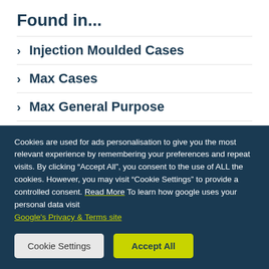Found in...
Injection Moulded Cases
Max Cases
Max General Purpose
Products
Waterproof Cases
Cookies are used for ads personalisation to give you the most relevant experience by remembering your preferences and repeat visits. By clicking "Accept All", you consent to the use of ALL the cookies. However, you may visit "Cookie Settings" to provide a controlled consent. Read More To learn how google uses your personal data visit Google's Privacy & Terms site
Cookie Settings | Accept All